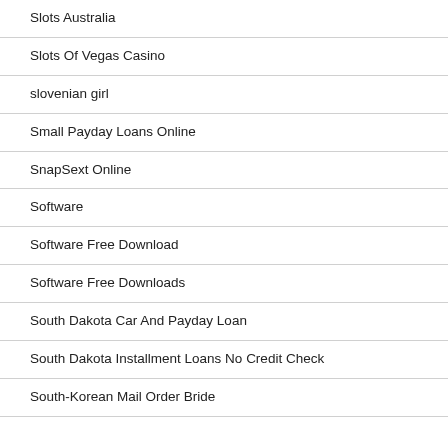Slots Australia
Slots Of Vegas Casino
slovenian girl
Small Payday Loans Online
SnapSext Online
Software
Software Free Download
Software Free Downloads
South Dakota Car And Payday Loan
South Dakota Installment Loans No Credit Check
South-Korean Mail Order Bride